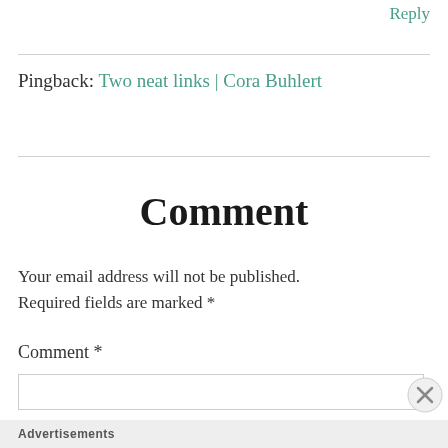Reply
Pingback: Two neat links | Cora Buhlert
Comment
Your email address will not be published. Required fields are marked *
Comment *
Advertisements